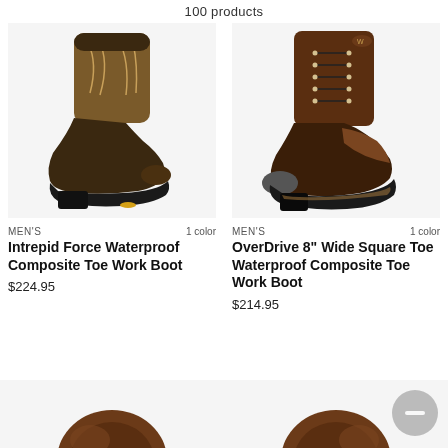100 products
[Figure (photo): Men's Intrepid Force Waterproof Composite Toe Work Boot - cowboy-style dark olive/brown leather pull-on work boot with decorative stitching on shaft]
MEN'S    1 color
Intrepid Force Waterproof Composite Toe Work Boot
$224.95
[Figure (photo): Men's OverDrive 8" Wide Square Toe Waterproof Composite Toe Work Boot - dark brown lace-up work boot with composite toe cap]
MEN'S    1 color
OverDrive 8" Wide Square Toe Waterproof Composite Toe Work Boot
$214.95
[Figure (photo): Partial view of brown work boot (bottom of page, left column)]
[Figure (photo): Partial view of brown work boot (bottom of page, right column)]